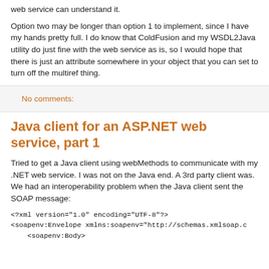web service can understand it.
Option two may be longer than option 1 to implement, since I have my hands pretty full. I do know that ColdFusion and my WSDL2Java utility do just fine with the web service as is, so I would hope that there is just an attribute somewhere in your object that you can set to turn off the multiref thing.
No comments:
Java client for an ASP.NET web service, part 1
Tried to get a Java client using webMethods to communicate with my .NET web service. I was not on the Java end. A 3rd party client was. We had an interoperability problem when the Java client sent the SOAP message:
<?xml version="1.0" encoding="UTF-8"?>
<soapenv:Envelope xmlns:soapenv="http://schemas.xmlsoap.o
    <soapenv:Body>